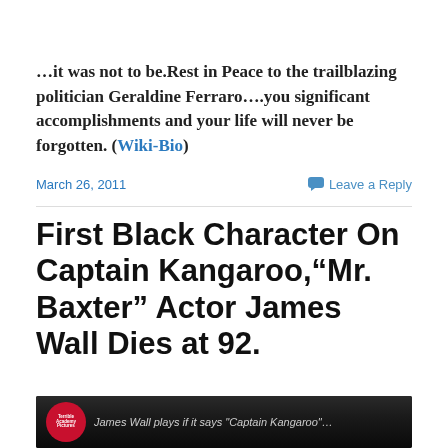…it was not to be.Rest in Peace to the trailblazing politician Geraldine Ferraro….you significant accomplishments and your life will never be forgotten. (Wiki-Bio)
March 26, 2011     Leave a Reply
First Black Character On Captain Kangaroo,"Mr. Baxter" Actor James Wall Dies at 92.
[Figure (photo): Thumbnail image of a dark video frame with a red circular logo on the left and italic caption text partially visible]